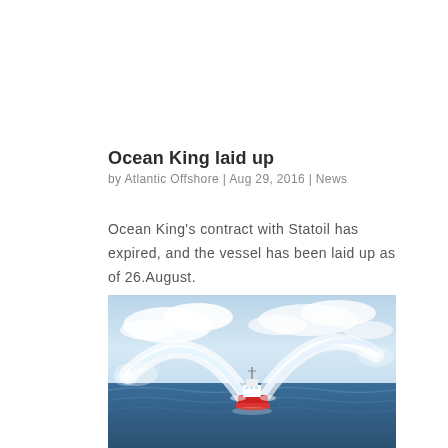Ocean King laid up
by Atlantic Offshore | Aug 29, 2016 | News
Ocean King's contract with Statoil has expired, and the vessel has been laid up as of 26.August.
[Figure (photo): An offshore supply vessel (red hull, white superstructure) shooting large arcs of water from firefighting monitors in open sea, with blue sky and clouds in the background.]